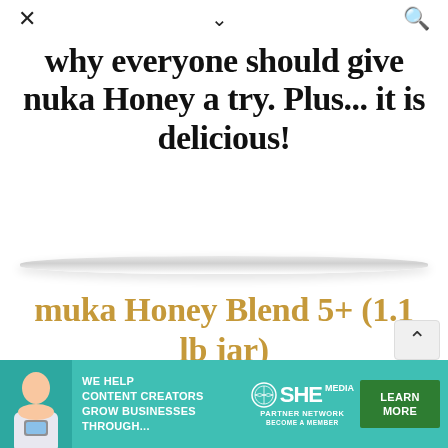× ∨ 🔍
why everyone should give nuka Honey a try. Plus... it is delicious!
[Figure (illustration): Decorative shelf divider with shadow]
muka Honey Blend 5+ (1.1 lb jar)
[Figure (photo): White ribbed jar lid of Manuka Honey Blend product, partially visible]
[Figure (infographic): Advertisement banner: SHE Media Partner Network — We help content creators grow businesses through... Learn More button]